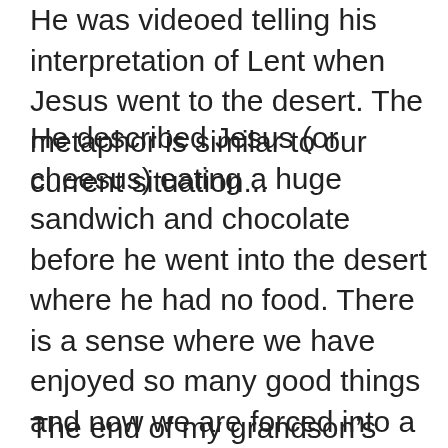He was videoed telling his interpretation of Lent when Jesus went to the desert. The metaphor is similar to our current situation...
He described Jesus (or cheesus) eating a huge sandwich and chocolate before he went into the desert where he had no food. There is a sense where we have enjoyed so many good things and now we are forced into a wilderness time. Lent and denial are really coming into focus for many of us. Jesus was being prepared for ministry and spent time relying on God to survive. If nothing else we are challenged in this way at present. We all have a variety of emotions flooding through our minds but the call is to not be afraid and to trust in God’s provision.
The end of my grandson’s tale was he came